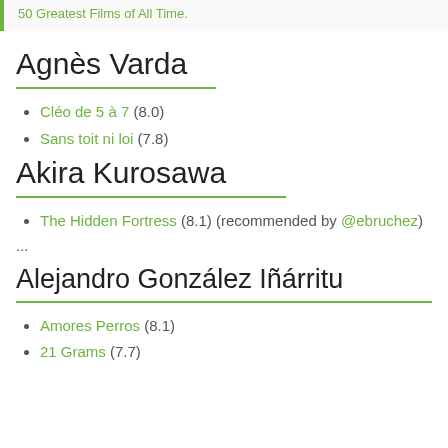50 Greatest Films of All Time.
Agnès Varda
Cléo de 5 à 7 (8.0)
Sans toit ni loi (7.8)
Akira Kurosawa
The Hidden Fortress (8.1) (recommended by @ebruchez)
...
Alejandro González Iñárritu
Amores Perros (8.1)
21 Grams (7.7)